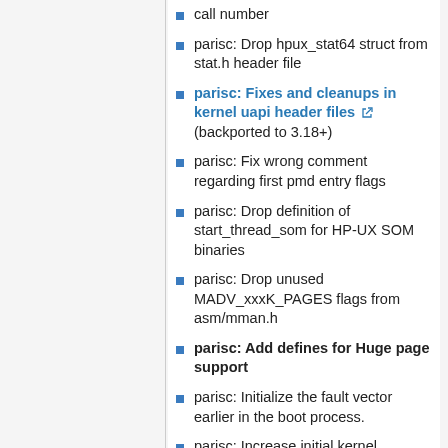call number
parisc: Drop hpux_stat64 struct from stat.h header file
parisc: Fixes and cleanups in kernel uapi header files (backported to 3.18+)
parisc: Fix wrong comment regarding first pmd entry flags
parisc: Drop definition of start_thread_som for HP-UX SOM binaries
parisc: Drop unused MADV_xxxK_PAGES flags from asm/mman.h
parisc: Add defines for Huge page support
parisc: Initialize the fault vector earlier in the boot process.
parisc: Increase initial kernel mapping to 32MB on 64bit kernel
parisc: Use long branch to do_syscall_trace_exit
parisc: Add Huge Page and